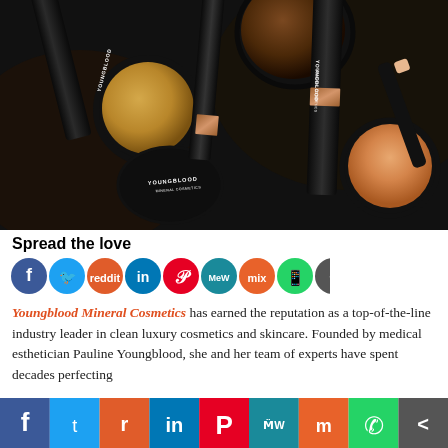[Figure (photo): Youngblood Mineral Cosmetics products arranged on a dark background — black tubes and compacts with rose gold accents, showing brand name on labels, powder compacts with golden and brown tones, and an orange blush compact.]
Spread the love
[Figure (infographic): Row of social media share buttons: Facebook (blue), Twitter (light blue), Reddit (red-orange), LinkedIn (dark blue), Pinterest (red), MeWe (teal), Mix (orange), WhatsApp (green), Share (dark gray)]
Youngblood Mineral Cosmetics has earned the reputation as a top-of-the-line industry leader in clean luxury cosmetics and skincare. Founded by medical esthetician Pauline Youngblood, she and her team of experts have spent decades perfecting
[Figure (infographic): Bottom social share bar with icons: Facebook (blue), Twitter (light blue), Reddit (orange), LinkedIn (dark blue), Pinterest (red), MeWe (teal), Mix (orange-red), WhatsApp (green), Share (dark gray)]